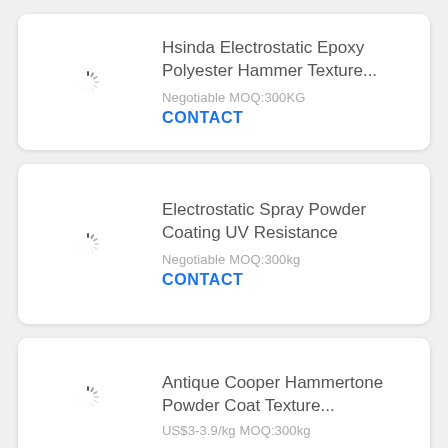Hsinda Electrostatic Epoxy Polyester Hammer Texture...
Negotiable MOQ:300KG
CONTACT
Electrostatic Spray Powder Coating UV Resistance
Negotiable MOQ:300kg
CONTACT
Antique Cooper Hammertone Powder Coat Texture...
US$3-3.9/kg MOQ:300kg